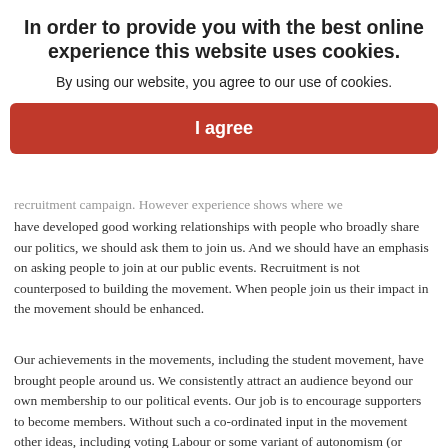one thing, sustaining and giving direction to a student movement is another. To have a chance of doing this we will need to grow fairly quickly. We need to put the argument for joining SWP to students consistently and with strength.
In order to provide you with the best online experience this website uses cookies.
By using our website, you agree to our use of cookies.
I agree
recruitment campaign. However experience shows where we have developed good working relationships with people who broadly share our politics, we should ask them to join us. And we should have an emphasis on asking people to join at our public events. Recruitment is not counterposed to building the movement. When people join us their impact in the movement should be enhanced.
Our achievements in the movements, including the student movement, have brought people around us. We consistently attract an audience beyond our own membership to our political events. Our job is to encourage supporters to become members. Without such a co-ordinated input in the movement other ideas, including voting Labour or some variant of autonomism (or indeed both at once) can dominate. We